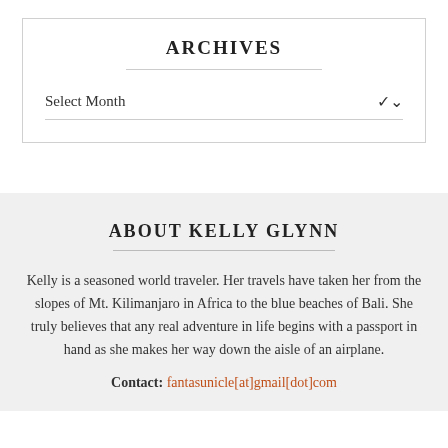ARCHIVES
Select Month
ABOUT KELLY GLYNN
Kelly is a seasoned world traveler. Her travels have taken her from the slopes of Mt. Kilimanjaro in Africa to the blue beaches of Bali. She truly believes that any real adventure in life begins with a passport in hand as she makes her way down the aisle of an airplane.
Contact: fantasunicle[at]gmail[dot]com